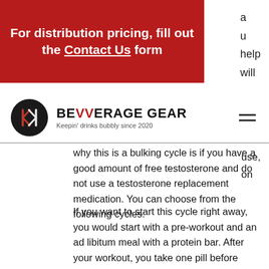[Figure (other): Red banner with white bold text: 'For distribution pricing, fill out the Contact Us form']
a
u
help
will
[Figure (logo): Bevverage Gear logo: black circle with stylized KL monogram in red/white, brand name 'BEVVERAGE GEAR' with red double-V, tagline 'Keepin' drinks bubbly since 2020']
use,
on
why this is a bulking cycle is if you have a good amount of free testosterone and do not use a testosterone replacement medication. You can choose from the following cycles:
If you want to start this cycle right away, you would start with a pre-workout and an ad libitum meal with a protein bar. After your workout, you take one pill before sleep and one after your workout. Do this cycle for several cycles, bulking plan spreadsheet. To build the bulk you will